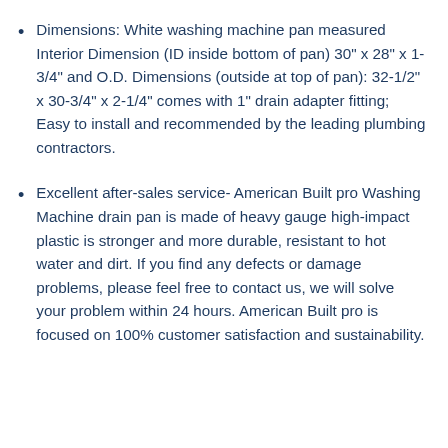Dimensions: White washing machine pan measured Interior Dimension (ID inside bottom of pan) 30" x 28" x 1-3/4" and O.D. Dimensions (outside at top of pan): 32-1/2" x 30-3/4" x 2-1/4" comes with 1" drain adapter fitting; Easy to install and recommended by the leading plumbing contractors.
Excellent after-sales service- American Built pro Washing Machine drain pan is made of heavy gauge high-impact plastic is stronger and more durable, resistant to hot water and dirt. If you find any defects or damage problems, please feel free to contact us, we will solve your problem within 24 hours. American Built pro is focused on 100% customer satisfaction and sustainability.